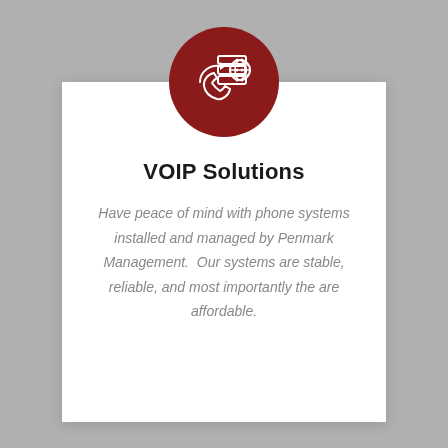[Figure (logo): Dark red circle icon containing white line-art illustration of a phone handset, server/device stack, and globe]
VOIP Solutions
Have peace of mind with phone systems installed and managed by Penmark Management.  Our systems are stable, reliable, and most importantly the are affordable.